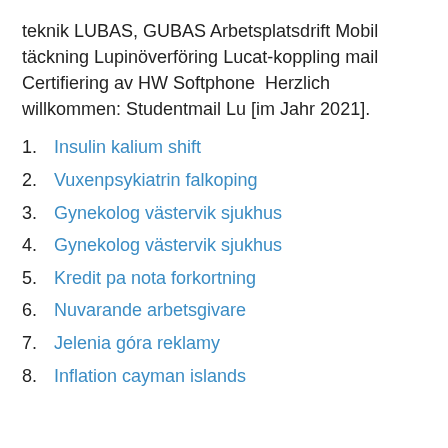teknik LUBAS, GUBAS Arbetsplatsdrift Mobil täckning Lupinöverföring Lucat-koppling mail Certifiering av HW Softphone  Herzlich willkommen: Studentmail Lu [im Jahr 2021].
1. Insulin kalium shift
2. Vuxenpsykiatrin falkoping
3. Gynekolog västervik sjukhus
4. Gynekolog västervik sjukhus
5. Kredit pa nota forkortning
6. Nuvarande arbetsgivare
7. Jelenia góra reklamy
8. Inflation cayman islands